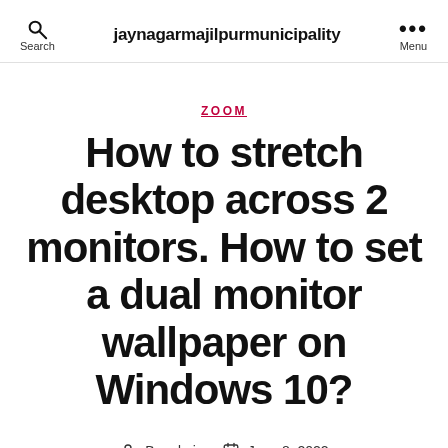Search  jaynagarmajilpurmunicipality  Menu
ZOOM
How to stretch desktop across 2 monitors. How to set a dual monitor wallpaper on Windows 10?
By admin  June 8, 2022